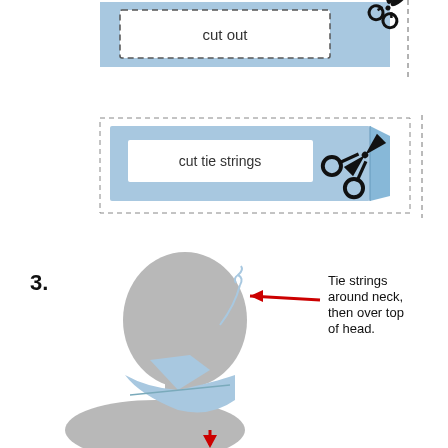[Figure (illustration): Top section: two instructional diagrams for making a face mask. First diagram shows a rectangular blue fabric piece with a dashed border and the label 'cut out' with scissors icon. Second diagram shows a blue fabric piece with 'cut tie strings' label and scissors cutting the edge. Bottom section: Step 3 illustration showing a side-profile silhouette of a person's head wearing a blue face mask with tie strings. A red arrow points to the neck tie area with text 'Tie strings around neck, then over top of head.' Another red arrow points downward at the bottom.]